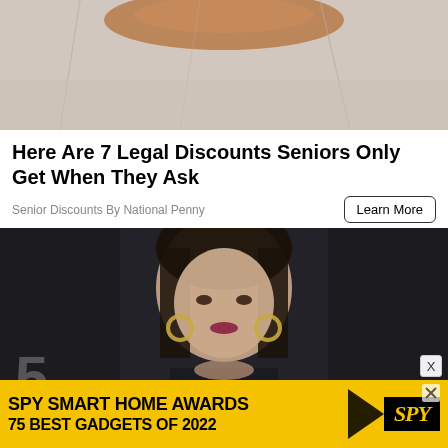[Figure (photo): Top portion showing a food item wrapped in paper, partially visible]
Here Are 7 Legal Discounts Seniors Only Get When They Ask
Senior Discounts By National Penny
[Figure (photo): Portrait of a young woman with dark hair pulled back, wearing gold hoop earrings, dark lipstick, photographed against a dark background at what appears to be a formal event. A partial logo/number '5' is visible in the lower left corner.]
[Figure (other): Advertisement banner: SPY SMART HOME AWARDS 75 BEST GADGETS OF 2022 with SPY logo on yellow background]